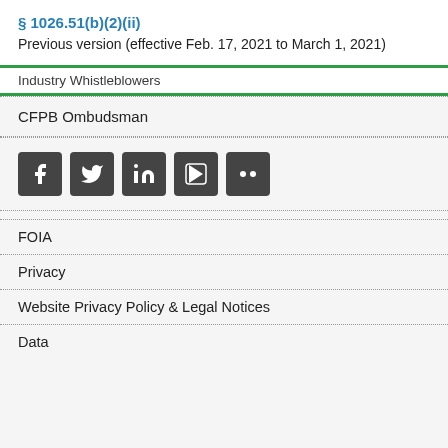§ 1026.51(b)(2)(ii)
Previous version (effective Feb. 17, 2021 to March 1, 2021)
Industry Whistleblowers
CFPB Ombudsman
[Figure (other): Social media icon buttons: Facebook, Twitter, LinkedIn, YouTube, Flickr]
FOIA
Privacy
Website Privacy Policy & Legal Notices
Data